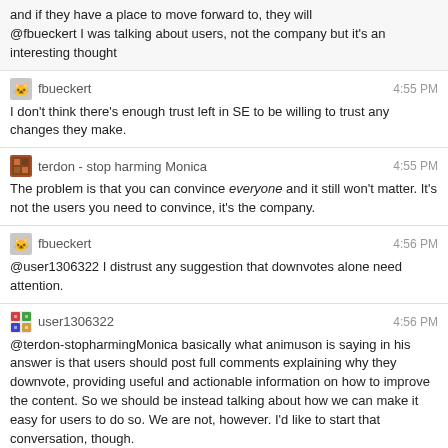and if they have a place to move forward to, they will
@fbueckert I was talking about users, not the company but it's an interesting thought
fbueckert  4:55 PM
I don't think there's enough trust left in SE to be willing to trust any changes they make.
terdon - stop harming Monica  4:55 PM
The problem is that you can convince everyone and it still won't matter. It's not the users you need to convince, it's the company.
fbueckert  4:56 PM
@user1306322 I distrust any suggestion that downvotes alone need attention.
user1306322  4:56 PM
@terdon-stopharmingMonica basically what animuson is saying in his answer is that users should post full comments explaining why they downvote, providing useful and actionable information on how to improve the content. So we should be instead talking about how we can make it easy for users to do so. We are not, however. I'd like to start that conversation, though.
user400654  4:56 PM
wait, where did animuson say that?
user1306322  4:57 PM
in his answer 5 years ago
user400654  4:57 PM